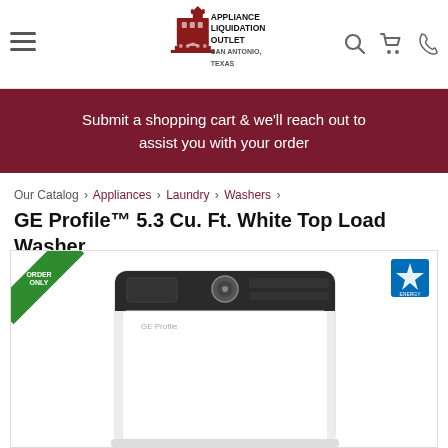[Figure (logo): Appliance Liquidation Outlet San Antonio, Texas logo with tower/building illustration]
Submit a shopping cart & we'll reach out to assist you with your order
Our Catalog › Appliances › Laundry › Washers ›
GE Profile™ 5.3 Cu. Ft. White Top Load Washer
[Figure (photo): GE Profile 5.3 Cu. Ft. White Top Load Washer with black control panel. Has ORDER ONLY badge in top-left corner and Energy Star badge in top-right corner.]